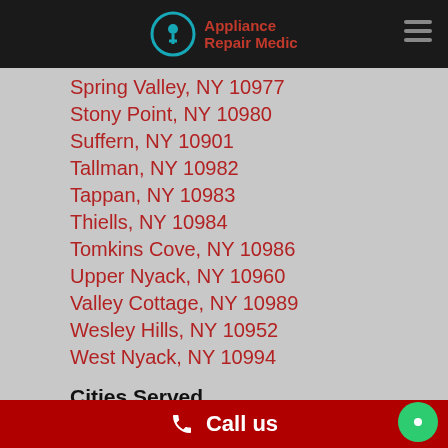Appliance Repair Medic
Spring Valley, NY 10977
Stony Point, NY 10980
Suffern, NY 10901
Tallman, NY 10982
Tappan, NY 10983
Thiells, NY 10984
Tomkins Cove, NY 10986
Upper Nyack, NY 10960
Valley Cottage, NY 10989
Wesley Hills, NY 10952
West Nyack, NY 10994
Cities Served
Allendale, NJ 07401
Alpine, NJ 07620
Cliffside Park, NJ 07010
Call us